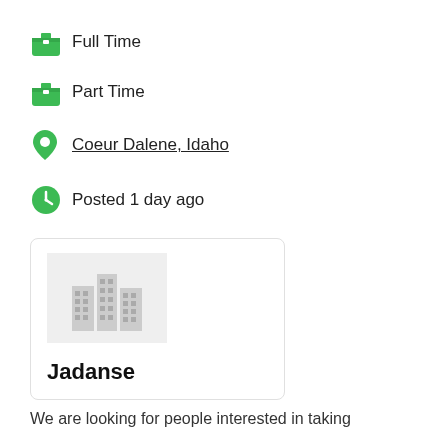Full Time
Part Time
Coeur Dalene, Idaho
Posted 1 day ago
[Figure (illustration): Company logo placeholder showing building/office icon on grey background]
Jadanse
We are looking for people interested in taking